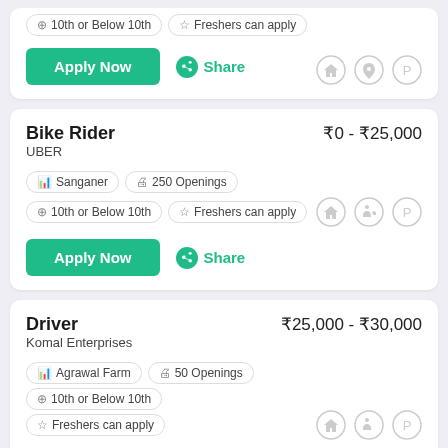10th or Below 10th | Freshers can apply | Apply Now | Share
Bike Rider | UBER | ₹0 - ₹25,000 | Sanganer | 250 Openings | 10th or Below 10th | Freshers can apply | Apply Now | Share
Driver | Komal Enterprises | ₹25,000 - ₹30,000 | Agrawal Farm | 50 Openings | 10th or Below 10th | Freshers can apply | Apply Now | Share